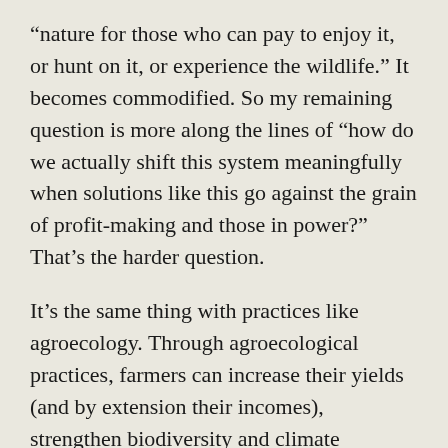“nature for those who can pay to enjoy it, or hunt on it, or experience the wildlife.” It becomes commodified. So my remaining question is more along the lines of “how do we actually shift this system meaningfully when solutions like this go against the grain of profit-making and those in power?” That’s the harder question.
It’s the same thing with practices like agroecology. Through agroecological practices, farmers can increase their yields (and by extension their incomes), strengthen biodiversity and climate resilience, and sequester more carbon dioxide in the soil, all while saving money on inputs that are expensive for both them and harmful to the environment. There’s evidence to back all of this up. But agroecology remains pretty marginal because farmers being